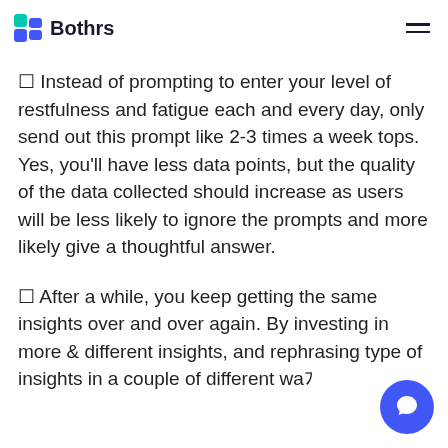Bothrs
◻ Instead of prompting to enter your level of restfulness and fatigue each and every day, only send out this prompt like 2-3 times a week tops. Yes, you'll have less data points, but the quality of the data collected should increase as users will be less likely to ignore the prompts and more likely give a thoughtful answer.
◻ After a while, you keep getting the same insights over and over again. By investing in more & different insights, and rephrasing type of insights in a couple of different way,